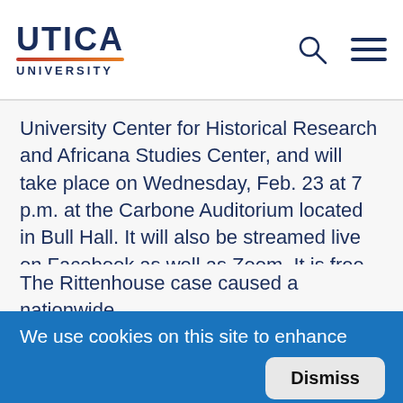UTICA UNIVERSITY
University Center for Historical Research and Africana Studies Center, and will take place on Wednesday, Feb. 23 at 7 p.m. at the Carbone Auditorium located in Bull Hall. It will also be streamed live on Facebook as well as Zoom. It is free and open to everyone.

The Rittenhouse case caused a nationwide
We use cookies on this site to enhance your user experience

By clicking any link on this page you are giving your consent for us to set cookies. Review privacy policy
Dismiss